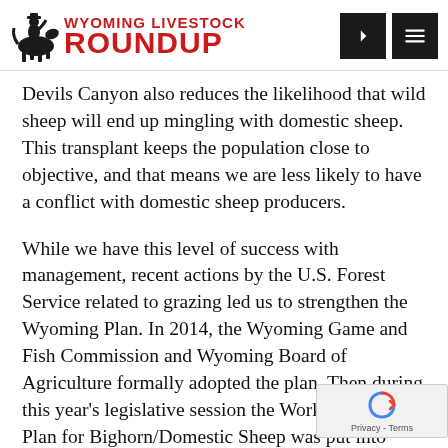Wyoming Livestock Roundup
Devils Canyon also reduces the likelihood that wild sheep will end up mingling with domestic sheep. This transplant keeps the population close to objective, and that means we are less likely to have a conflict with domestic sheep producers.
While we have this level of success with management, recent actions by the U.S. Forest Service related to grazing led us to strengthen the Wyoming Plan. In 2014, the Wyoming Game and Fish Commission and Wyoming Board of Agriculture formally adopted the plan. Then during this year's legislative session the Working Group's Plan for Bighorn/Domestic Sheep was put into state law. This comes almost exactly 10 years after the diverse groups that forged the plan put it into place with our word and our handshake.